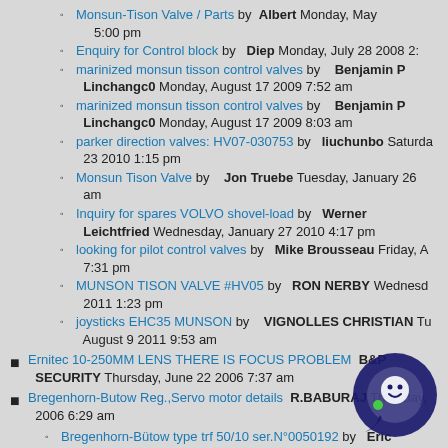Monsun-Tison Valve / Parts by Albert Monday, May 5:00 pm
Enquiry for Control block by Diep Monday, July 28 2008 2:
marinized monsun tisson control valves by Benjamin P Linchangc0 Monday, August 17 2009 7:52 am
marinized monsun tisson control valves by Benjamin P Linchangc0 Monday, August 17 2009 8:03 am
parker direction valves: HV07-030753 by liuchunbo Saturday, 23 2010 1:15 pm
Monsun Tison Valve by Jon Truebe Tuesday, January 26 am
Inquiry for spares VOLVO shovel-load by Werner Leichtfried Wednesday, January 27 2010 4:17 pm
looking for pilot control valves by Mike Brousseau Friday, A 7:31 pm
MUNSON TISON VALVE #HV05 by RON NERBY Wednesday, 2011 1:23 pm
joysticks EHC35 MUNSON by VIGNOLLES CHRISTIAN Tu August 9 2011 9:53 am
Ernitec 10-250MM LENS THERE IS FOCUS PROBLEM B&P SECURITY Thursday, June 22 2006 7:37 am
Bregenhorn-Butow Reg.,Servo motor details R.BABURAJ Thursday, 2006 6:29 am
Bregenhorn-Bütow type trf 50/10 ser.N°0050192 by Eric Dierickx Tuesday, July 22 2008 12:30 pm
bregenhorn butow TRF60/5 by marcha y, De 2010 10:31 am
Servo drives by Klaus Buetow Friday ry 1 11:56 am
Wohlenberg Wohleperg MCS-2 tv Scheme Nikola Zivkovic Monday,